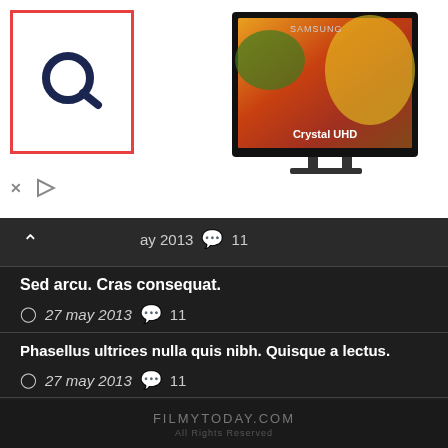[Figure (screenshot): Advertisement banner with Q logo in red border box on left, Samsung Crystal UHD TV product image on right, white background with X and play controls at bottom left]
ay 2013  11
Sed arcu. Cras consequat.
27 may 2013  11
Phasellus ultrices nulla quis nibh. Quisque a lectus.
27 may 2013  11
This page took 0.1458 seconds to respond
FILMYTODAY.COM